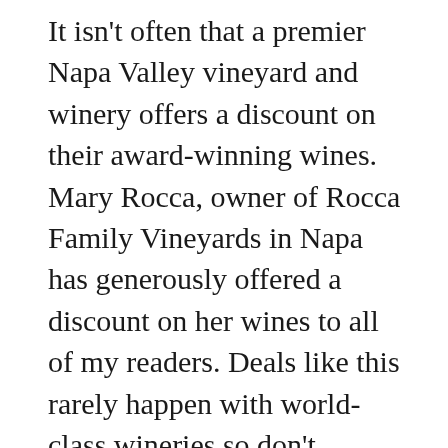It isn't often that a premier Napa Valley vineyard and winery offers a discount on their award-winning wines. Mary Rocca, owner of Rocca Family Vineyards in Napa has generously offered a discount on her wines to all of my readers. Deals like this rarely happen with world-class wineries so don't hesitate because it expires on 10/16/19 and I know you will regret missing this one. Go to http://roccawines.com and enter either discount code at